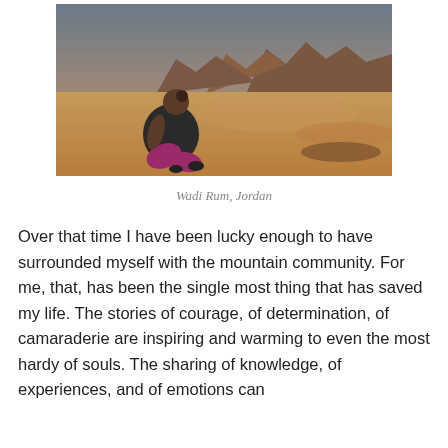[Figure (photo): A person with dark hair sitting on sandy ground in a desert landscape, wearing a black tank top and purple/magenta pants. Rocky formations visible in the background under a clear blue-grey sky. Desert is Wadi Rum, Jordan.]
Wadi Rum, Jordan
Over that time I have been lucky enough to have surrounded myself with the mountain community. For me, that, has been the single most thing that has saved my life. The stories of courage, of determination, of camaraderie are inspiring and warming to even the most hardy of souls. The sharing of knowledge, of experiences, and of emotions can